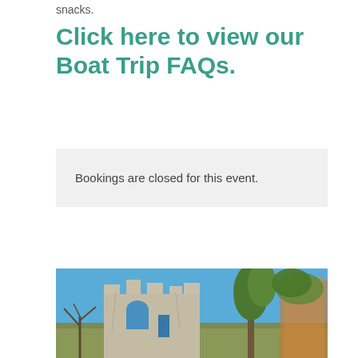snacks.
Click here to view our Boat Trip FAQs.
Bookings are closed for this event.
[Figure (photo): Photograph of stone castle ruins with arched window openings against a clear blue sky, with trees visible to the right]